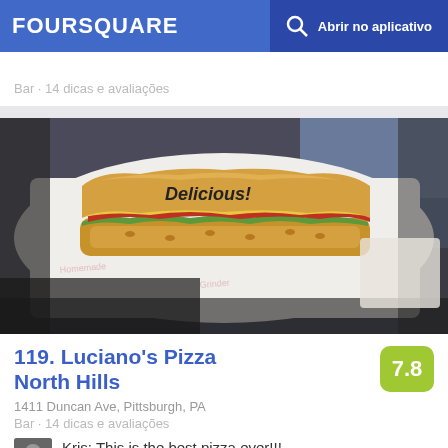FOURSQUARE  Abrir no aplicativo
Bar · 14 dicas e avaliações
[Figure (photo): Photo of a sandwich wrapper with the word 'Delicious!' printed on it, showing a cartoon sub sandwich illustration. The wrapper is white with a grinder/sub illustration. Background shows car interior.]
119. Luciano's Pizza North Hills
1411 Duncan Ave, Pittsburgh, PA
Bar · 14 dicas e avaliações
Kris: This is the best pizza ever!!! Only place in the north hills I get my